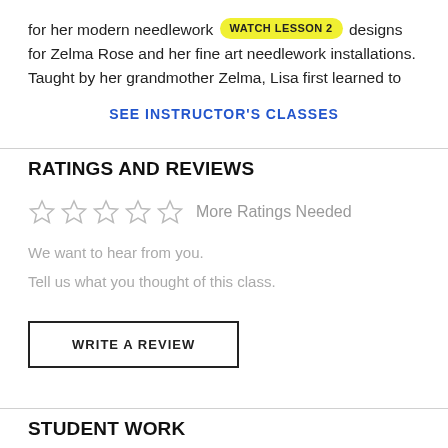for her modern needlework jewelry designs for Zelma Rose and her fine art needlework installations. Taught by her grandmother Zelma, Lisa first learned to
SEE INSTRUCTOR'S CLASSES
RATINGS AND REVIEWS
[Figure (other): Five empty/outline stars indicating 'More Ratings Needed']
More Ratings Needed
We want to hear from you.
Tell us what you thought of this class.
WRITE A REVIEW
STUDENT WORK